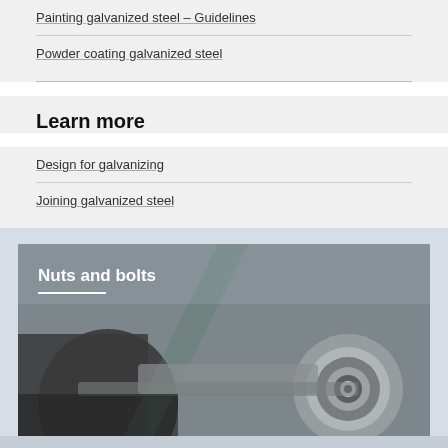Painting galvanized steel – Guidelines
Powder coating galvanized steel
Learn more
Design for galvanizing
Joining galvanized steel
[Figure (photo): Close-up photo of industrial metal nuts and bolts hardware components with text overlay 'Nuts and bolts']